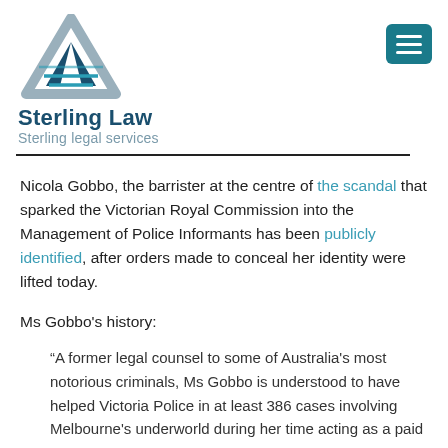[Figure (logo): Sterling Law logo with triangular geometric icon in dark teal and grey, company name 'Sterling Law' and tagline 'Sterling legal services']
Nicola Gobbo, the barrister at the centre of the scandal that sparked the Victorian Royal Commission into the Management of Police Informants has been publicly identified, after orders made to conceal her identity were lifted today.
Ms Gobbo's history:
“A former legal counsel to some of Australia's most notorious criminals, Ms Gobbo is understood to have helped Victoria Police in at least 386 cases involving Melbourne's underworld during her time acting as a paid